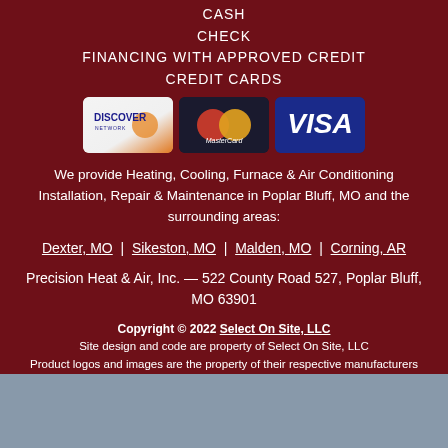CASH
CHECK
FINANCING WITH APPROVED CREDIT
CREDIT CARDS
[Figure (logo): Three credit card logos side by side: Discover Network, MasterCard, and Visa]
We provide Heating, Cooling, Furnace & Air Conditioning Installation, Repair & Maintenance in Poplar Bluff, MO and the surrounding areas:
Dexter, MO  |  Sikeston, MO  |  Malden, MO  |  Corning, AR
Precision Heat & Air, Inc. — 522 County Road 527, Poplar Bluff, MO 63901
Copyright © 2022 Select On Site, LLC
Site design and code are property of Select On Site, LLC
Product logos and images are the property of their respective manufacturers